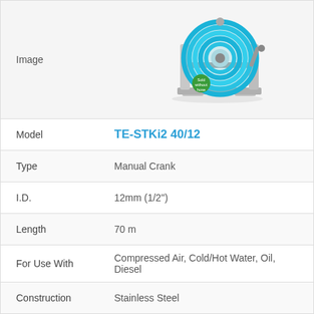[Figure (photo): Blue hose reel on stainless steel bracket with a small green badge reading 'Sold without hose']
| Field | Value |
| --- | --- |
| Model | TE-STKi2 40/12 |
| Type | Manual Crank |
| I.D. | 12mm (1/2") |
| Length | 70 m |
| For Use With | Compressed Air, Cold/Hot Water, Oil, Diesel |
| Construction | Stainless Steel |